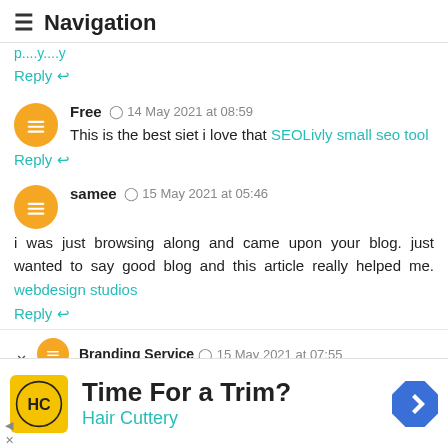≡ Navigation
[truncated link text in teal]
Reply ↩
Free ⊙ 14 May 2021 at 08:59
This is the best siet i love that SEOLivly small seo tool
Reply ↩
samee ⊙ 15 May 2021 at 05:46
i was just browsing along and came upon your blog. just wanted to say good blog and this article really helped me. webdesign studios
Reply ↩
∨ Branding Service ⊙ 15 May 2021 at 07:55
[Figure (screenshot): Advertisement banner: Time For a Trim? Hair Cuttery, with HC logo and navigation arrow icon]